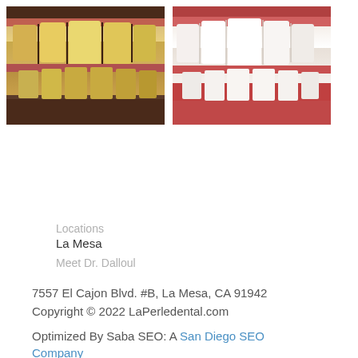[Figure (photo): Before photo: close-up of teeth showing yellow/stained coloration]
[Figure (photo): After photo: close-up of teeth showing white/bright coloration after dental treatment]
Locations
La Mesa
Meet Dr. Dalloul
7557 El Cajon Blvd. #B, La Mesa, CA 91942
Copyright © 2022 LaPerledental.com
Optimized By Saba SEO: A San Diego SEO Company